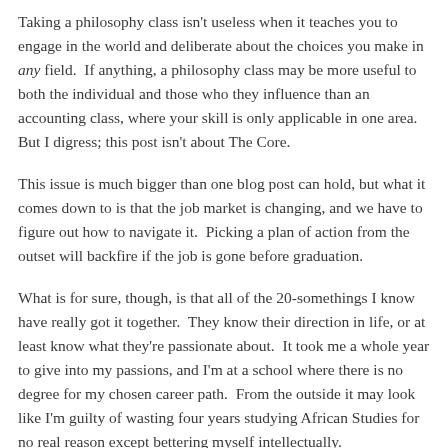Taking a philosophy class isn't useless when it teaches you to engage in the world and deliberate about the choices you make in any field.  If anything, a philosophy class may be more useful to both the individual and those who they influence than an accounting class, where your skill is only applicable in one area.  But I digress; this post isn't about The Core.
This issue is much bigger than one blog post can hold, but what it comes down to is that the job market is changing, and we have to figure out how to navigate it.  Picking a plan of action from the outset will backfire if the job is gone before graduation.
What is for sure, though, is that all of the 20-somethings I know have really got it together.  They know their direction in life, or at least know what they're passionate about.  It took me a whole year to give into my passions, and I'm at a school where there is no degree for my chosen career path.  From the outside it may look like I'm guilty of wasting four years studying African Studies for no real reason except bettering myself intellectually.
But I know where I'm going in life; and I'm certainly not floating.